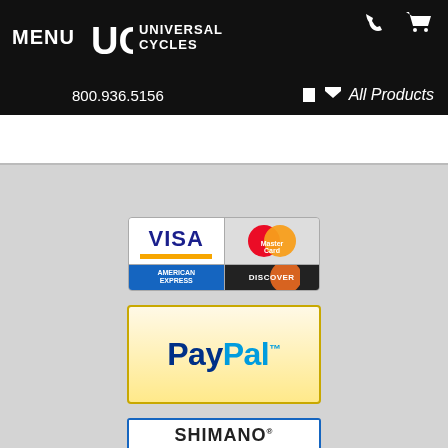MENU | Universal Cycles | 800.936.5156 | All Products
[Figure (logo): Payment methods badge showing Visa, MasterCard, American Express, and Discover cards]
[Figure (logo): PayPal payment badge with golden/cream background]
[Figure (logo): Shimano Authorized Mail Order Retailer badge with blue background and green gear icon]